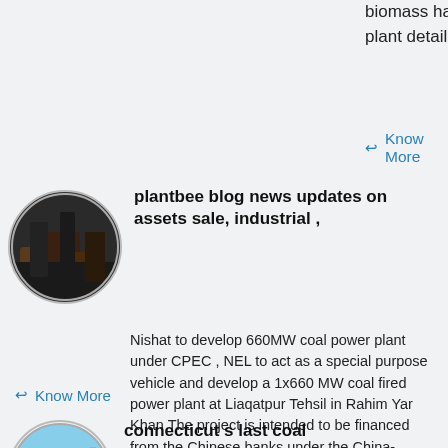engaging in profitable and efficient biomass handling nishat mills coal power plant detail pdf...
Know More
[Figure (photo): Oval thumbnail photo of coal or industrial machinery, dark tones]
plantbee blog news updates on assets sale, industrial ,
Nishat to develop 660MW coal power plant under CPEC , NEL to act as a special purpose vehicle and develop a 1x660 MW coal fired power plant at Liaqatpur Tehsil in Rahim Yar Khan The project is intended to be financed from the Chinese banks under the China-Pakistan Economic Corridor CPEC government to government agreed ,...
Know More
[Figure (photo): Oval thumbnail photo of a coal power plant with industrial towers against a blue sky]
connecticut s last coal
Connecticut s last coal-fired power plant, Bridgeport Harbor Station, is scheduled to